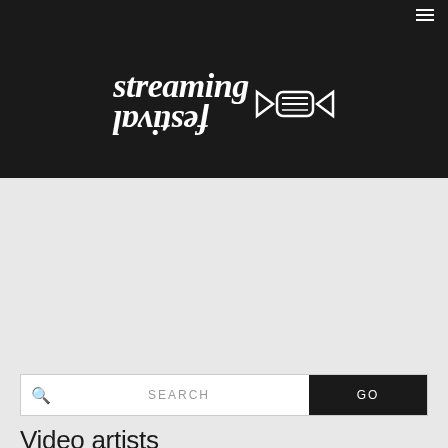Navigation bar with hamburger menu
[Figure (logo): Streaming Festival logo — 'streaming' text in white italic serif on top, 'festival' text mirrored/flipped below, with a decorative icon to the right, all on dark background]
Video artists